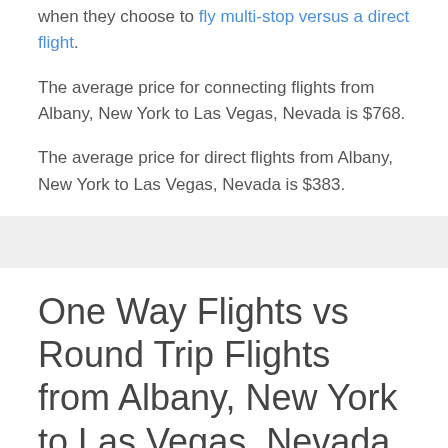when they choose to fly multi-stop versus a direct flight.
The average price for connecting flights from Albany, New York to Las Vegas, Nevada is $768.
The average price for direct flights from Albany, New York to Las Vegas, Nevada is $383.
One Way Flights vs Round Trip Flights from Albany, New York to Las Vegas, Nevada
We have found that there is often no price difference